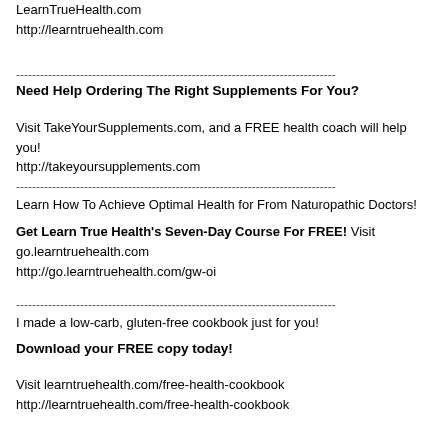LearnTrueHealth.com
http://learntruehealth.com
--------------------------------------------------------------------------------
Need Help Ordering The Right Supplements For You?
Visit TakeYourSupplements.com, and a FREE health coach will help you!
http://takeyoursupplements.com
--------------------------------------------------------------------------------
Learn How To Achieve Optimal Health for From Naturopathic Doctors!
Get Learn True Health's Seven-Day Course For FREE! Visit
go.learntruehealth.com
http://go.learntruehealth.com/gw-oi
--------------------------------------------------------------------------------
I made a low-carb, gluten-free cookbook just for you!
Download your FREE copy today!
Visit learntruehealth.com/free-health-cookbook
http://learntruehealth.com/free-health-cookbook